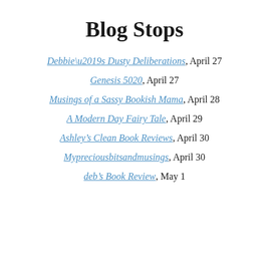Blog Stops
Debbie’s Dusty Deliberations, April 27
Genesis 5020, April 27
Musings of a Sassy Bookish Mama, April 28
A Modern Day Fairy Tale, April 29
Ashley’s Clean Book Reviews, April 30
Mypreciousbitsandmusings, April 30
deb’s Book Review, May 1